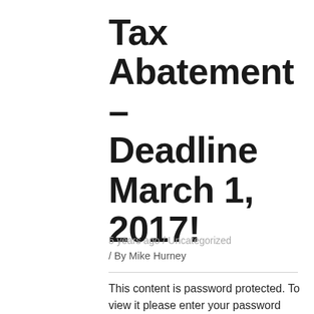Tax Abatement – Deadline March 1, 2017!
5 years ago / Uncategorized
/ By Mike Hurney
This content is password protected. To view it please enter your password below: